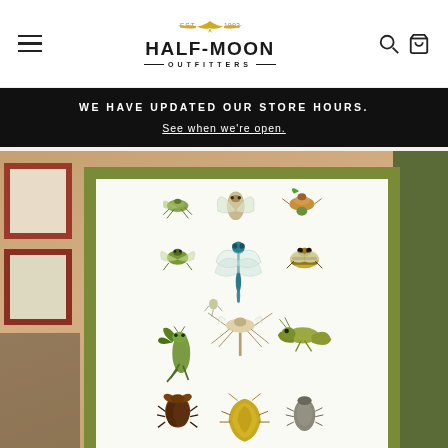Half-Moon Outfitters — Est. 1993
WE HAVE UPDATED OUR STORE HOURS. See when we're open.
[Figure (photo): Product display photo showing an insect illustration print framed in olive/green, showing various insects (grasshoppers, dragonflies, beetles, mantis, etc.), placed on a wooden surface with other nature-themed stationery items and a green notebook on the right.]